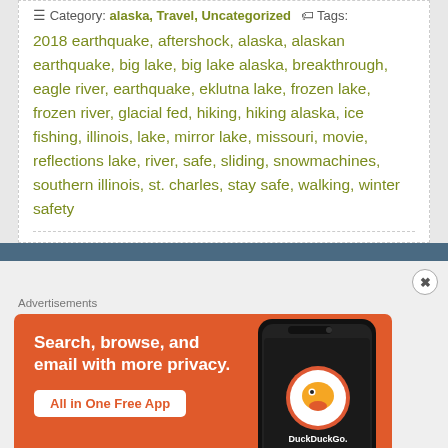Category: alaska, Travel, Uncategorized  Tags: 2018 earthquake, aftershock, alaska, alaskan earthquake, big lake, big lake alaska, breakthrough, eagle river, earthquake, eklutna lake, frozen lake, frozen river, glacial fed, hiking, hiking alaska, ice fishing, illinois, lake, mirror lake, missouri, movie, reflections lake, river, safe, sliding, snowmachines, southern illinois, st. charles, stay safe, walking, winter safety
[Figure (screenshot): DuckDuckGo advertisement: Search, browse, and email with more privacy. All in One Free App.]